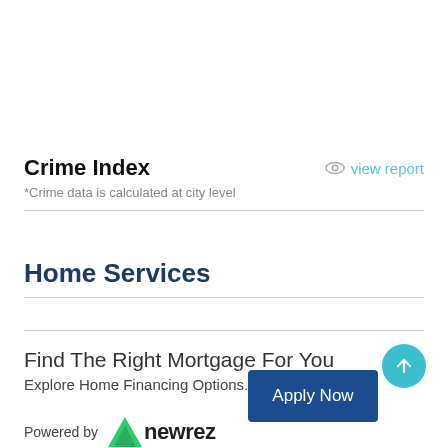Crime Index
view report
*Crime data is calculated at city level
Home Services
Find The Right Mortgage For You
Explore Home Financing Options.
Apply Now
Powered by newrez